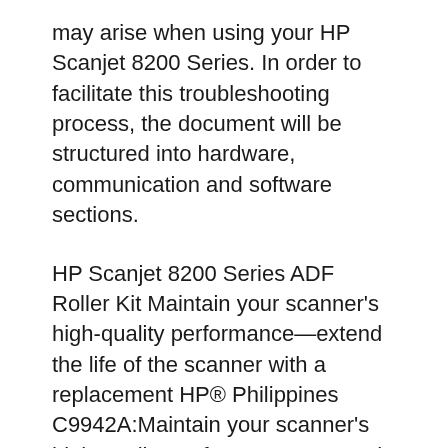may arise when using your HP Scanjet 8200 Series. In order to facilitate this troubleshooting process, the document will be structured into hardware, communication and software sections.
HP Scanjet 8200 Series ADF Roller Kit Maintain your scanner's high-quality performance—extend the life of the scanner with a replacement HP® Philippines C9942A:Maintain your scanner's high-quality performance—extend the life of the scanner with a replacement roller and separation pad. Download the latest drivers, firmware, and software for your HP Scanjet 8200c Scanner series.This is HP's official website that will help automatically